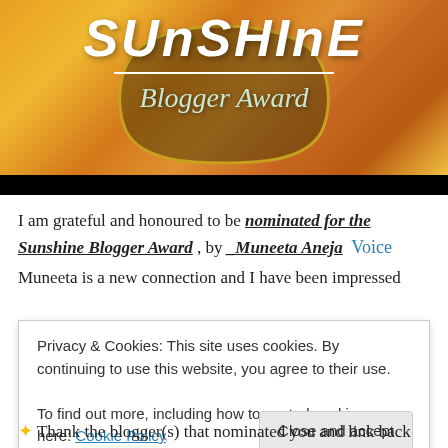[Figure (illustration): Sunshine Blogger Award badge image with decorative floral/tulip background in warm orange and gold tones. The word SUNSHINE appears in large white hand-lettered style text at the top, with a horizontal white line beneath it, and 'Blogger Award' in cursive script below, all overlaid on a decorative badge shape. A black bar appears at the bottom of the image.]
I am grateful and honoured to be nominated for the Sunshine Blogger Award , by _Muneeta Aneja  Voice
Muneeta is a new connection and I have been impressed
Privacy & Cookies: This site uses cookies. By continuing to use this website, you agree to their use.
To find out more, including how to control cookies, see here: Cookie Policy
Close and accept
✦ Thank the blogger(s) that nominated you and link back